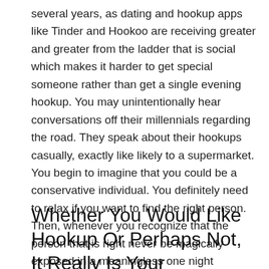several years, as dating and hookup apps like Tinder and Hookoo are receiving greater and greater from the ladder that is social which makes it harder to get special someone rather than get a single evening hookup. You may unintentionally hear conversations off their millennials regarding the road. They speak about their hookups casually, exactly like likely to a supermarket. You begin to imagine that you could be a conservative individual. You definitely need to relax if you want to find the right person. Then, whenever you recognize that the person that is right never be magically exposed in a meaningless one night hookup, you may quickly go back to truth. That you do not worry about that life, while do not want to begin.
Whether You Would Like Hookup Or Perhaps Not, It Really Is Your